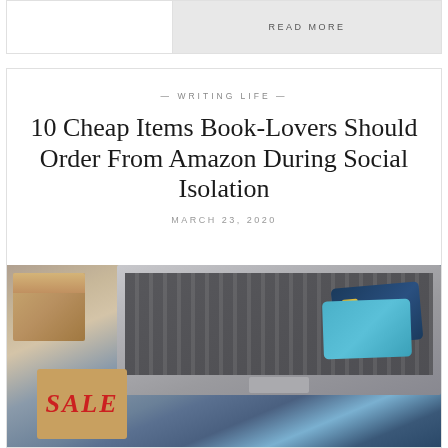READ MORE
— WRITING LIFE —
10 Cheap Items Book-Lovers Should Order From Amazon During Social Isolation
MARCH 23, 2020
[Figure (photo): Photo of a laptop keyboard with a brown cardboard package, a sale price tag, and two credit cards (navy and teal) on the trackpad area]